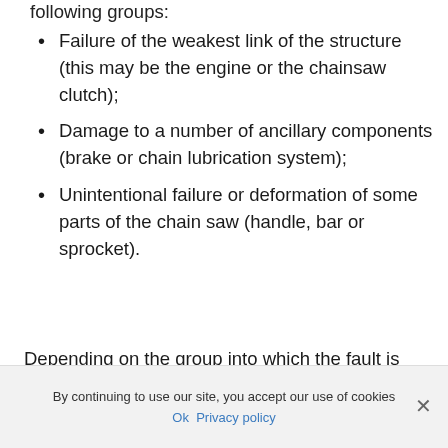following groups:
Failure of the weakest link of the structure (this may be the engine or the chainsaw clutch);
Damage to a number of ancillary components (brake or chain lubrication system);
Unintentional failure or deformation of some parts of the chain saw (handle, bar or sprocket).
Depending on the group into which the fault is
By continuing to use our site, you accept our use of cookies
Ok   Privacy policy